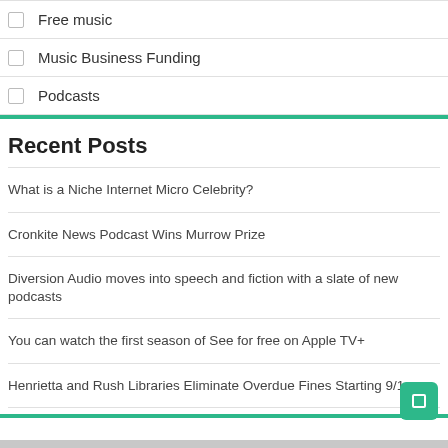Free music
Music Business Funding
Podcasts
Recent Posts
What is a Niche Internet Micro Celebrity?
Cronkite News Podcast Wins Murrow Prize
Diversion Audio moves into speech and fiction with a slate of new podcasts
You can watch the first season of See for free on Apple TV+
Henrietta and Rush Libraries Eliminate Overdue Fines Starting 9/1